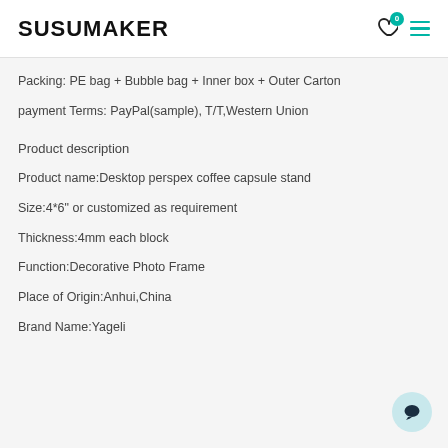SUSUMAKER
Packing: PE bag + Bubble bag + Inner box + Outer Carton
payment Terms: PayPal(sample), T/T,Western Union
Product description
Product name:Desktop perspex coffee capsule stand
Size:4*6" or customized as requirement
Thickness:4mm each block
Function:Decorative Photo Frame
Place of Origin:Anhui,China
Brand Name:Yageli